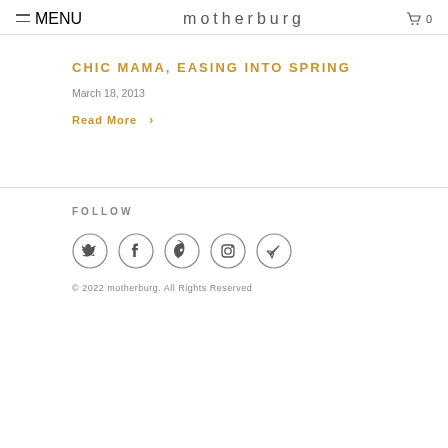MENU   motherburg   0
CHIC MAMA, EASING INTO SPRING
March 18, 2013
Read More >
FOLLOW
[Figure (illustration): Five social media icons in circles: Twitter, Facebook, Pinterest, Instagram, Telegram/send]
© 2022 motherburg. All Rights Reserved